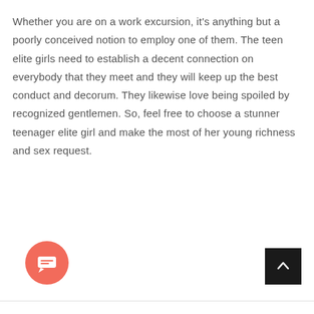Whether you are on a work excursion, it's anything but a poorly conceived notion to employ one of them. The teen elite girls need to establish a decent connection on everybody that they meet and they will keep up the best conduct and decorum. They likewise love being spoiled by recognized gentlemen. So, feel free to choose a stunner teenager elite girl and make the most of her young richness and sex request.